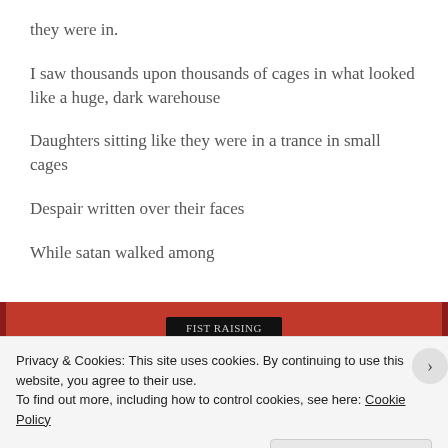they were in.
I saw thousands upon thousands of cages in what looked like a huge, dark warehouse
Daughters sitting like they were in a trance in small cages
Despair written over their faces
While satan walked among
[Figure (screenshot): Red banner with dark vertical stripes on sides and a dark button in center with small text]
Privacy & Cookies: This site uses cookies. By continuing to use this website, you agree to their use.
To find out more, including how to control cookies, see here: Cookie Policy
Close and accept